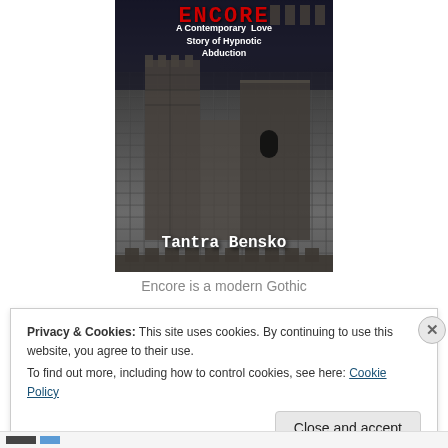[Figure (illustration): Book cover for 'Encore' by Tantra Bensko. Dark gothic castle with stone battlements against a stormy sky. Subtitle: 'A Contemporary Love Story of Hypnotic Abduction'. Author name in white at bottom.]
Encore is a modern Gothic
Privacy & Cookies: This site uses cookies. By continuing to use this website, you agree to their use.
To find out more, including how to control cookies, see here: Cookie Policy
Close and accept